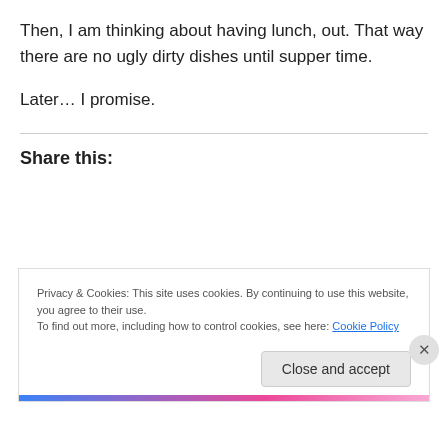Then, I am thinking about having lunch, out. That way there are no ugly dirty dishes until supper time.
Later… I promise.
Share this:
Privacy & Cookies: This site uses cookies. By continuing to use this website, you agree to their use.
To find out more, including how to control cookies, see here: Cookie Policy